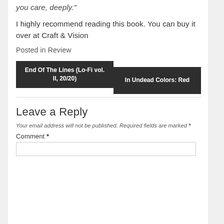you care, deeply.”
I highly recommend reading this book. You can buy it over at Craft & Vision
Posted in Review
End Of The Lines (Lo-Fi vol. II, 20/20)
In Undead Colors: Red
Leave a Reply
Your email address will not be published. Required fields are marked *
Comment *